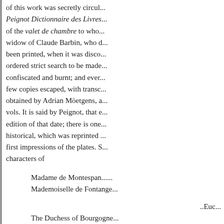of this work was secretly circul... Peignot Dictionnaire des Livres... of the valet de chambre to who... widow of Claude Barbin, who d... been printed, when it was disco... ordered strict search to be made... confiscated and burnt; and ever... few copies escaped, with transc... obtained by Adrian Möetgens, a... vols. It is said by Peignot, that e... edition of that date; there is one... historical, which was reprinted ... first impressions of the plates. S... characters of
Madame de Montespan.......
Mademoiselle de Fontange...
..Euc...
The Duchess of Bourgogne...
Louvois.........
.Prothésilas. King James........
...,Idomenée. Louis XIV.